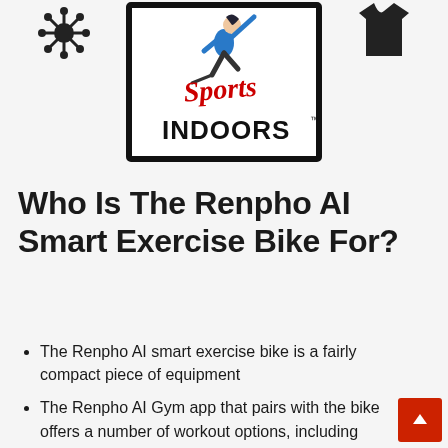[Figure (logo): Sports Indoors logo: a figure skater or dancer in blue and red on a black rectangular frame, with a coronavirus/snowflake icon to the upper left and a t-shirt icon to the upper right. Text says 'Sports INDOORS' in script and block letters.]
Who Is The Renpho AI Smart Exercise Bike For?
The Renpho AI smart exercise bike is a fairly compact piece of equipment
The Renpho AI Gym app that pairs with the bike offers a number of workout options, including classes and virtual rides